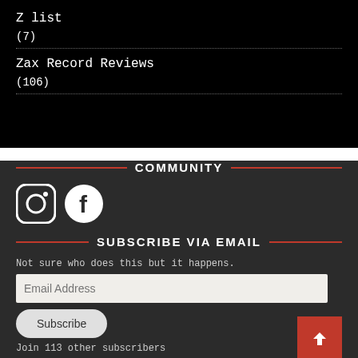Z list
(7)
Zax Record Reviews
(106)
COMMUNITY
[Figure (logo): Instagram and Facebook social media icons in white on dark background]
SUBSCRIBE VIA EMAIL
Not sure who does this but it happens.
Email Address
Subscribe
Join 113 other subscribers